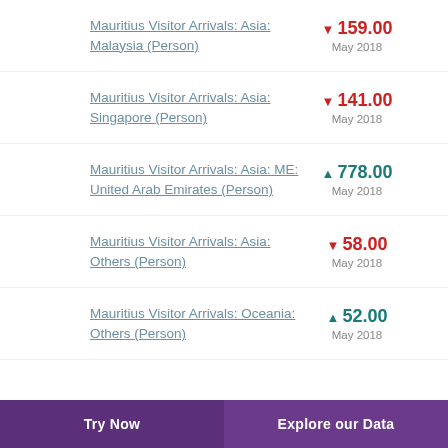Mauritius Visitor Arrivals: Asia: Malaysia (Person) ▼ 159.00 May 2018
Mauritius Visitor Arrivals: Asia: Singapore (Person) ▼ 141.00 May 2018
Mauritius Visitor Arrivals: Asia: ME: United Arab Emirates (Person) ▲ 778.00 May 2018
Mauritius Visitor Arrivals: Asia: Others (Person) ▼ 58.00 May 2018
Mauritius Visitor Arrivals: Oceania: Others (Person) ▲ 52.00 May 2018
Try Now   Explore our Data